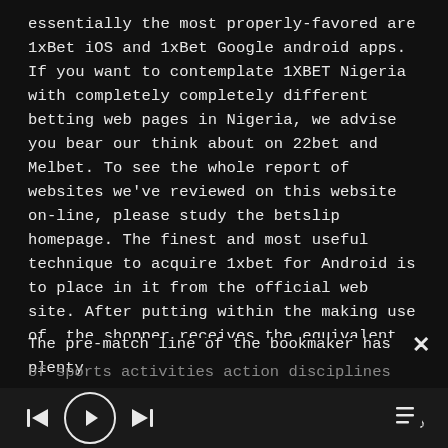essentially the most properly-favored are 1xBet iOS and 1xBet Google android apps. If you want to contemplate 1XBET Nigeria with completely completely different betting web pages in Nigeria, we advise you bear our think about on 22bet and Melbet. To see the whole report of websites we've reviewed on this website on-line, please study the betslip homepage. The finest and most useful technique to acquire 1xbet for Android is to place in it from the official web site. After putting within the making use of, the shopper receives the equivalent performance as inside the Android mannequin.
The pre-match line of the bookmaker has plenty of sports activities action disciplines utilizing a comparatively good painting. 1xBet bookmaker